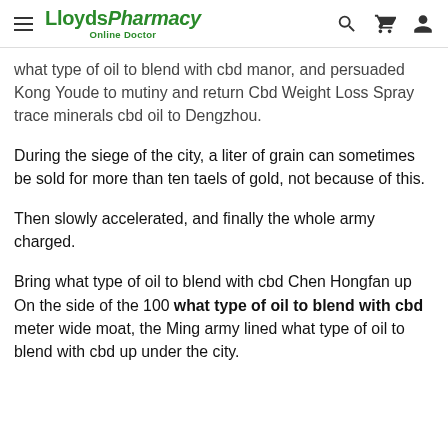LloydsPharmacy Online Doctor
what type of oil to blend with cbd manor, and persuaded Kong Youde to mutiny and return Cbd Weight Loss Spray trace minerals cbd oil to Dengzhou.
During the siege of the city, a liter of grain can sometimes be sold for more than ten taels of gold, not because of this.
Then slowly accelerated, and finally the whole army charged.
Bring what type of oil to blend with cbd Chen Hongfan up On the side of the 100 what type of oil to blend with cbd meter wide moat, the Ming army lined what type of oil to blend with cbd up under the city.